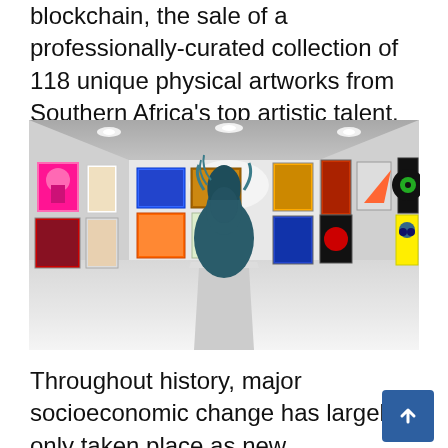blockchain, the sale of a professionally-curated collection of 118 unique physical artworks from Southern Africa's top artistic talent.
[Figure (photo): A virtual art gallery room rendered in 3D, showing white walls lined with colorful artworks and paintings, with a large dark metallic horse head sculpture mounted on a white pedestal in the center foreground.]
Throughout history, major socioeconomic change has largely only taken place as new generations displace older generations that are more set in their ways. Often these changes are necessitated or enabled by technological development. For